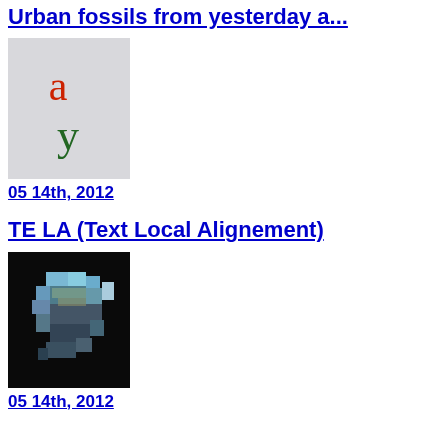Urban fossils from yesterday a...
[Figure (photo): Light gray background with a red letter 'a' and a green letter 'y' displayed in serif font]
05 14th, 2012
TE LA (Text Local Alignement)
[Figure (photo): Black background with a mosaic/collage of photographic images arranged in an irregular shape]
05 14th, 2012